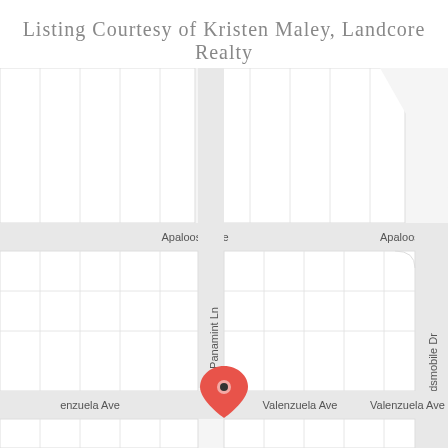Listing Courtesy of Kristen Maley, Landcore Realty
[Figure (map): Street map showing intersection near Valenzuela Ave and Panamint Ln with a red location pin marker. Visible street labels: Apaloosa Ave, Panamint Ln, Valenzuela Ave, enzuela Ave, Oldsmobile Dr.]